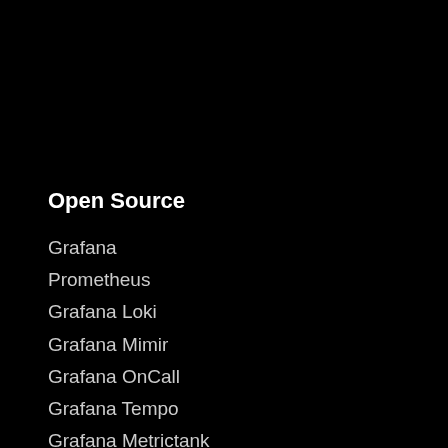Open Source
Grafana
Prometheus
Grafana Loki
Grafana Mimir
Grafana OnCall
Grafana Tempo
Grafana Metrictank
Graphite
Grafana k6
Grafana Tanka
OpenTelemetry